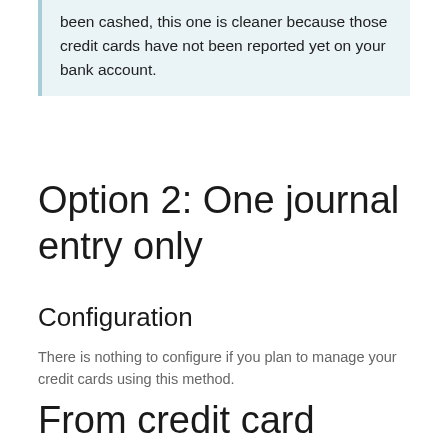But, if you have credit cards that have not been cashed, this one is cleaner because those credit cards have not been reported yet on your bank account.
Option 2: One journal entry only
Configuration
There is nothing to configure if you plan to manage your credit cards using this method.
From credit card payments to bank statements